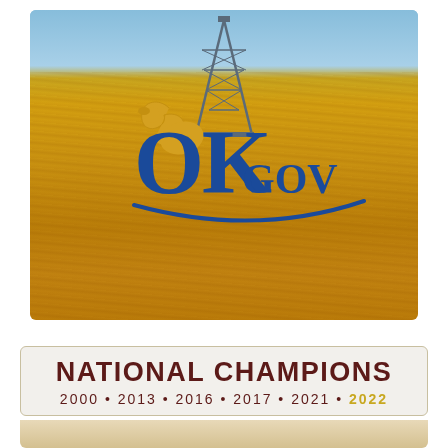[Figure (photo): Oklahoma state government (OK.gov) promotional image showing a golden wheat field with an oil derrick in the background against a blue sky. The OK.gov logo is overlaid prominently in blue and yellow on the image.]
NATIONAL CHAMPIONS
2000 • 2013 • 2016 • 2017 • 2021 • 2022